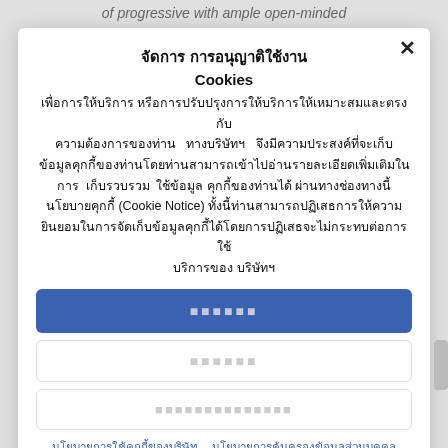of progressive with ample open-minded
จัดการ การอนุญาติใช้งาน Cookies
เพื่อการให้บริการ หรือการปรับปรุงการให้บริการให้เหมาะสมและตรงกับความต้องการของท่าน ทางบริษัทฯ จึงมีความประสงค์ที่จะเก็บข้อมูลคุกกี้ของท่านโดยท่านสามารถเข้าไปอ่านรายละเอียดเพิ่มเติมในการ เก็บรวบรวม ใช้ข้อมูล คุกกี้ของท่านได้ ผ่านทางช่องทางนี้ นโยบายคุกกี้ (Cookie Notice) ทั้งนี้ท่านสามารถปฏิเสธการให้ความยินยอมในการจัดเก็บข้อมูลคุกกี้ได้โดยการปฏิเสธจะไม่กระทบต่อการใช้บริการของ บริษัทฯ
ยอมรับ
ปฏิเสธ
ตั้งค่าการอนุญาติ
นโยบายการใช้คุกกี้ของบริษัท  นโยบายการคุ้มครองข้อมูลส่วนบุคคล